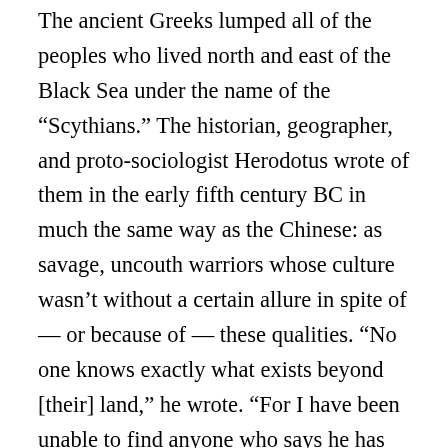The ancient Greeks lumped all of the peoples who lived north and east of the Black Sea under the name of the “Scythians.” The historian, geographer, and proto-sociologist Herodotus wrote of them in the early fifth century BC in much the same way as the Chinese: as savage, uncouth warriors whose culture wasn’t without a certain allure in spite of — or because of — these qualities. “No one knows exactly what exists beyond [their] land,” he wrote. “For I have been unable to find anyone who says he has actually seen it with his own eyes.” What really did lie beyond the land he called Scythia was, of course, China.